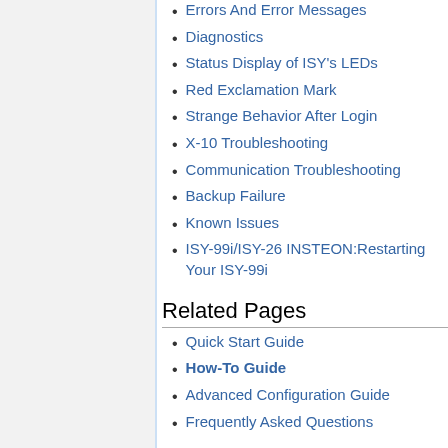Errors And Error Messages
Diagnostics
Status Display of ISY's LEDs
Red Exclamation Mark
Strange Behavior After Login
X-10 Troubleshooting
Communication Troubleshooting
Backup Failure
Known Issues
ISY-99i/ISY-26 INSTEON:Restarting Your ISY-99i
Related Pages
Quick Start Guide
How-To Guide
Advanced Configuration Guide
Frequently Asked Questions